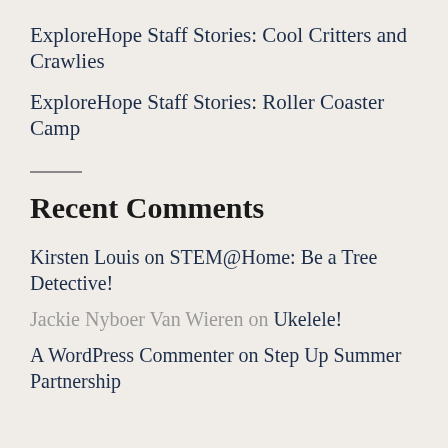ExploreHope Staff Stories: Cool Critters and Crawlies
ExploreHope Staff Stories: Roller Coaster Camp
Recent Comments
Kirsten Louis on STEM@Home: Be a Tree Detective!
Jackie Nyboer Van Wieren on Ukelele!
A WordPress Commenter on Step Up Summer Partnership